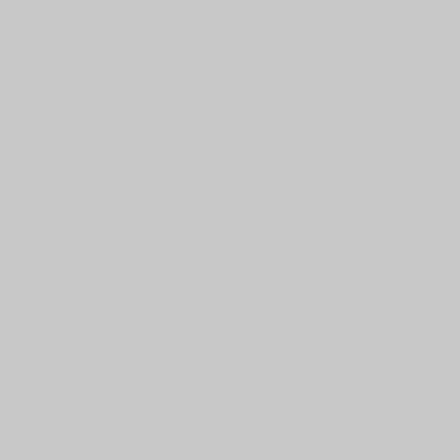New: next/previous-single-cha…
New: xemacs-font-lock-c-key…
Fix: ^M brokenness in res.rc.…
Fix: adapt to recent changes i…
Fix: byte-char conversion, sho…
Fix: coding cookie recognitio…
Fix: data-in-executable proble…
Fix: find-coding-system-magi…
Fix: leaking process handles. (…
Fix: only call device method d…
Fix: protect callers of MSFT s…
Fix: typos. (Robert Royar) ()…
Fix: warnings. (Aidan Kehoe,…
New: Hashcode type. (Ben W…
New: color API. (Ben Wing) (…
New: rename abort() macro to…
Improve: GCPRO macros. (Bo…
Improve: Mule-ize various thi…
Improve: Suppress aliasing wa…
Improve: UNUSED parameter…
Improve: Unicode-ize various…
Improve: critical section prote…
Improve: debug info on attem…
Improve: menubar support. (B…
Improve: more orthogonality i…